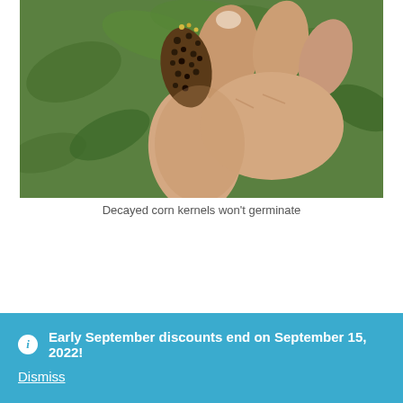[Figure (photo): A hand holding a decayed corn cob with rotted/darkened kernels that have holes, against a green leafy background]
Decayed corn kernels won't germinate
Early September discounts end on September 15, 2022!
Dismiss